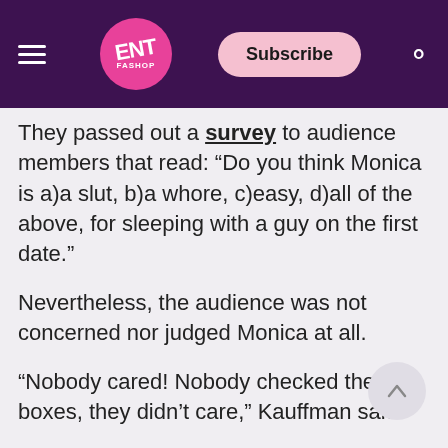ENT FASHOP | Subscribe | Search
They passed out a survey to audience members that read: “Do you think Monica is a)a slut, b)a whore, c)easy, d)all of the above, for sleeping with a guy on the first date.”
Nevertheless, the audience was not concerned nor judged Monica at all.
“Nobody cared! Nobody checked the boxes, they didn’t care,” Kauffman said.